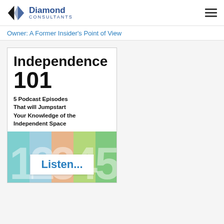Diamond Consultants
Owner: A Former Insider's Point of View
[Figure (illustration): Independence 101 promotional card. Title reads 'Independence 101' in bold black text, subtitle '5 Podcast Episodes That will Jumpstart Your Knowledge of the Independent Space', with a colorful bottom section showing large numbers 1-5 in various colors and a 'Listen...' button in teal text on white background.]